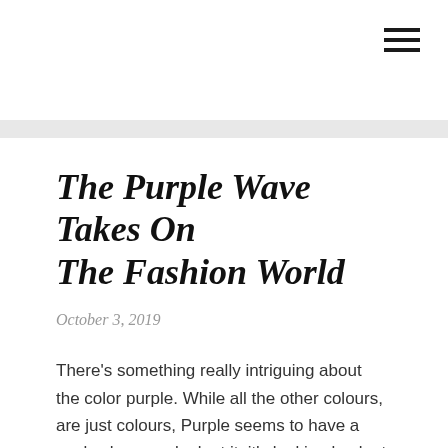[Figure (other): Hamburger menu icon (three horizontal lines) in the top-right corner of the page]
The Purple Wave Takes On The Fashion World
October 3, 2019
There’s something really intriguing about the color purple. While all the other colours, are just colours, Purple seems to have a soul- when you look at it, it’s looking back at you.